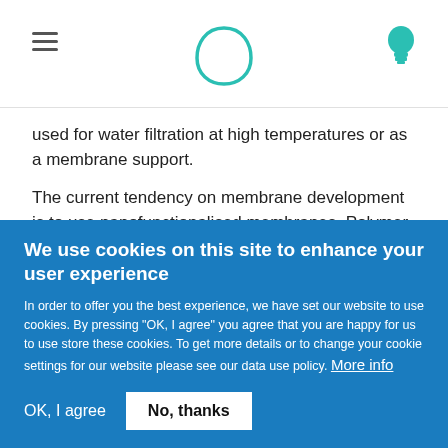Navigation header with hamburger menu, logo, and lightbulb icon
used for water filtration at high temperatures or as a membrane support.
The current tendency on membrane development is to use nanofunctionalised membranes. Polymer membranes doped with silver nanoparticles to avoid biofouling is an example of such modern membranes
We use cookies on this site to enhance your user experience
In order to offer you the best experience, we have set our website to use cookies. By pressing "OK, I agree" you agree that you are happy for us to use store these cookies. To get more details or to change your cookie settings for our website please see our data use policy. More info
OK, I agree
No, thanks